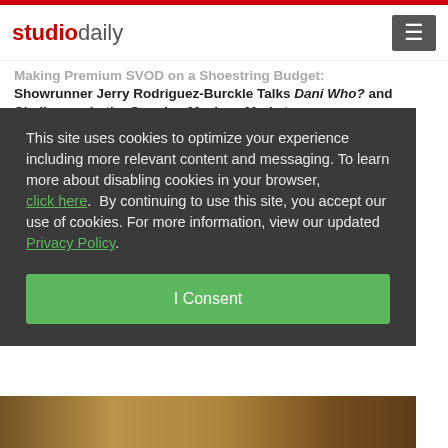studiodaily
Making Premium SVOD on a Shoestring Budget: Showrunner Jerry Rodriguez-Burckle Talks Dani Who? and Challenges in the Growing Mexican Market
This site uses cookies to optimize your experience including more relevant content and messaging. To learn more about disabling cookies in your browser, click here.  By continuing to use this site, you accept our use of cookies. For more information, view our updated Privacy Policy.
I Consent